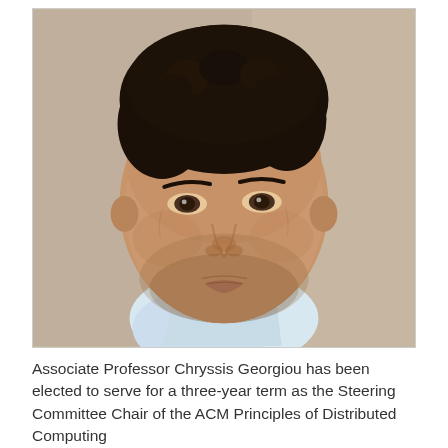[Figure (photo): Headshot portrait photo of Associate Professor Chryssis Georgiou, a middle-aged man with dark curly hair and stubble, wearing a light blue collared shirt, against a neutral beige/grey background.]
Associate Professor Chryssis Georgiou has been elected to serve for a three-year term as the Steering Committee Chair of the ACM Principles of Distributed Computing